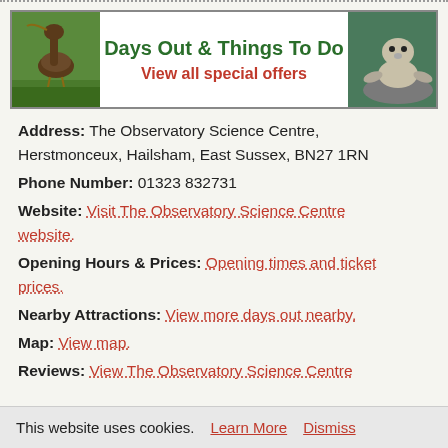[Figure (illustration): Banner advertisement for 'Days Out & Things To Do' with animal photos on left and right, green bold title and red subtitle 'View all special offers']
Address: The Observatory Science Centre, Herstmonceux, Hailsham, East Sussex, BN27 1RN
Phone Number: 01323 832731
Website: Visit The Observatory Science Centre website.
Opening Hours & Prices: Opening times and ticket prices.
Nearby Attractions: View more days out nearby.
Map: View map.
Reviews: View The Observatory Science Centre
This website uses cookies.   Learn More   Dismiss